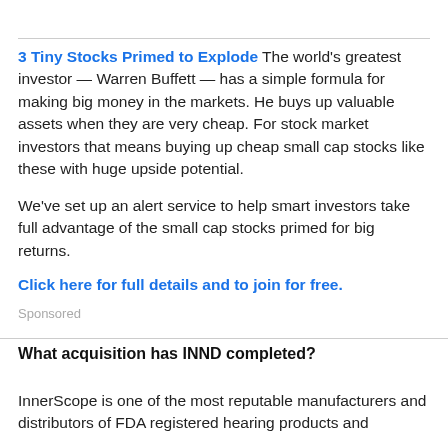3 Tiny Stocks Primed to Explode The world's greatest investor — Warren Buffett — has a simple formula for making big money in the markets. He buys up valuable assets when they are very cheap. For stock market investors that means buying up cheap small cap stocks like these with huge upside potential. We've set up an alert service to help smart investors take full advantage of the small cap stocks primed for big returns. Click here for full details and to join for free.
Sponsored
What acquisition has INND completed?
InnerScope is one of the most reputable manufacturers and distributors of FDA registered hearing products and...